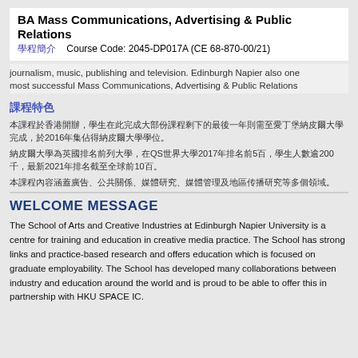BA Mass Communications, Advertising & Public Relations
Course Code: 2045-DP017A (CE 68-870-00/21)
journalism, music, publishing and television. Edinburgh Napier also one most successful Mass Communications, Advertising & Public Relations
[CJK characters]
[CJK text] 2016 [CJK text]
[CJK text] QS [CJK] 2017 [CJK] 5 [CJK] 200 [CJK] 2021 [CJK] 10 [CJK]
[CJK text]
WELCOME MESSAGE
The School of Arts and Creative Industries at Edinburgh Napier University is a centre for training and education in creative media practice. The School has strong links and practice-based research and offers education which is focused on graduate employability. The School has developed many collaborations between industry and education around the world and is proud to be able to offer this in partnership with HKU SPACE IC.